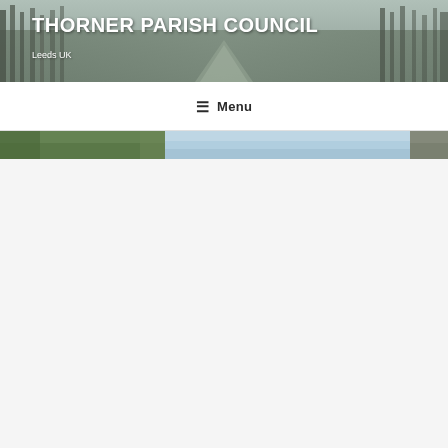[Figure (photo): Header banner showing a wintery tree-lined path/road scene in muted grey-green tones with snow-covered trees]
THORNER PARISH COUNCIL
Leeds UK
≡ Menu
[Figure (photo): Narrow strip photo showing green trees on the left and a light blue sky scene on the right]